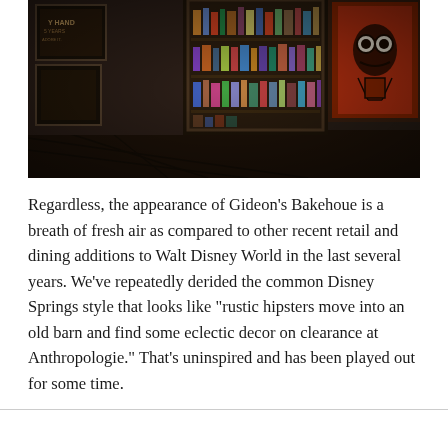[Figure (photo): Interior of Gideon's Bakehoue showing dark, moody decor with wooden bookshelves filled with items, framed artwork on walls including an orange-red painting of a cartoon skull-like face with large round eyes, and vintage posters. The lighting is dim and atmospheric.]
Regardless, the appearance of Gideon's Bakehoue is a breath of fresh air as compared to other recent retail and dining additions to Walt Disney World in the last several years. We've repeatedly derided the common Disney Springs style that looks like "rustic hipsters move into an old barn and find some eclectic decor on clearance at Anthropologie." That's uninspired and has been played out for some time.